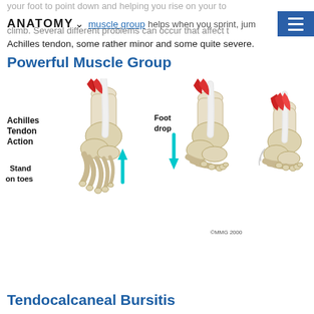ANATOMY ∨ muscle group (navigation bar with hamburger menu)
your foot to point down and helping you rise on your to... The powerful muscle group helps when you sprint, jum... climb. Several different problems can occur that affect t... Achilles tendon, some rather minor and some quite severe.
Powerful Muscle Group
[Figure (illustration): Achilles Tendon Action diagram showing three foot/ankle bone illustrations: left shows 'Stand on toes' position with upward cyan arrow and muscle engaged; center shows 'Foot drop' position with downward cyan arrow; right shows relaxed position. Red muscle bellies visible at top. Copyright MMG 2000.]
Tendocalcaneal Bursitis